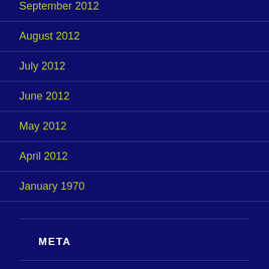September 2012
August 2012
July 2012
June 2012
May 2012
April 2012
January 1970
META
Log in